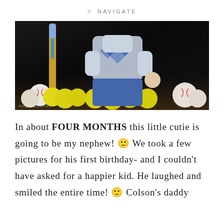NAVIGATE
[Figure (photo): A young toddler boy sitting among softballs and baseballs with a baseball bat nearby, wearing an argyle sweater vest over a light blue shirt and jeans, against a dark background. Watermark reads PHOTOGRAPHY in the lower left.]
In about FOUR MONTHS this little cutie is going to be my nephew! 🙂 We took a few pictures for his first birthday- and I couldn't have asked for a happier kid. He laughed and smiled the entire time! 🙂 Colson's daddy